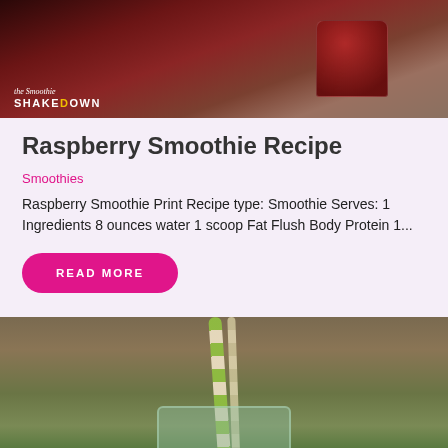[Figure (photo): Photo of a dark red raspberry smoothie in a glass on a wooden surface, with The Smoothie Shakedown logo in bottom-left corner]
Raspberry Smoothie Recipe
Smoothies
Raspberry Smoothie Print Recipe type: Smoothie Serves: 1 Ingredients 8 ounces water 1 scoop Fat Flush Body Protein 1...
READ MORE
[Figure (photo): Photo of a green smoothie in a clear glass with a green and white striped straw on a wooden surface]